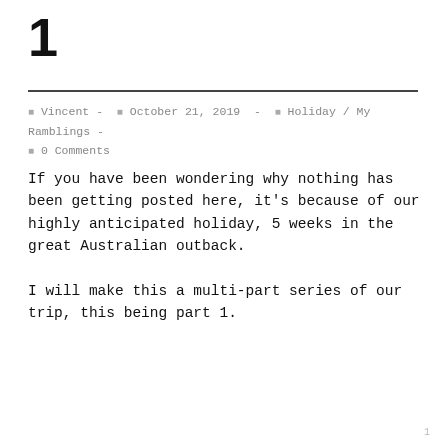1
✦ Vincent -  ✦ October 21, 2019  -  ✦ Holiday / My Ramblings -  ✦ 0 Comments
If you have been wondering why nothing has been getting posted here, it's because of our highly anticipated holiday, 5 weeks in the great Australian outback.
I will make this a multi-part series of our trip, this being part 1.
1